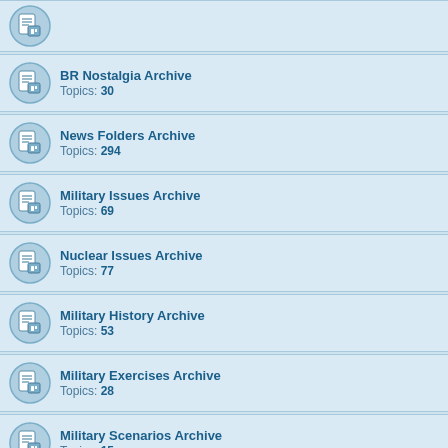BR Nostalgia Archive
Topics: 30
News Folders Archive
Topics: 294
Military Issues Archive
Topics: 69
Nuclear Issues Archive
Topics: 77
Military History Archive
Topics: 53
Military Exercises Archive
Topics: 28
Military Scenarios Archive
Topics: 15
Religion Discussion Archive
Topics: 10
Military Expositions Archive
Topics: 30
History & Current Affairs Archive
Topics: 41
Strategic & Security Issues Archive
Topics: 53